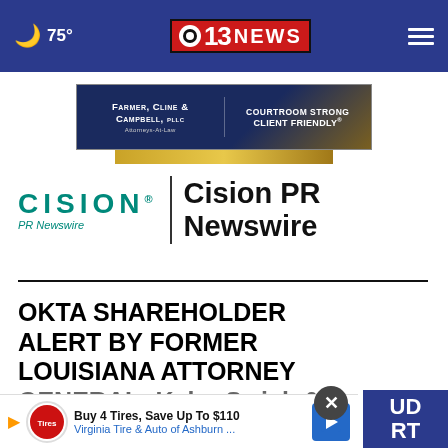🌙 75° | CBS 13 NEWS
[Figure (logo): Farmer, Cline & Campbell, PLLC - Courtroom Strong, Client Friendly advertisement banner]
[Figure (logo): Cision PR Newswire logo with CISION wordmark in teal and 'PR Newswire' subtext, separated by vertical line from 'Cision PR Newswire' bold title text]
OKTA SHAREHOLDER ALERT BY FORMER LOUISIANA ATTORNEY GENERAL: Kahn Swick & Foti, Investors with Losses in
[Figure (screenshot): Bottom advertisement overlay: Buy 4 Tires, Save Up To $110 - Virginia Tire & Auto of Ashburn with play button and tire logo]